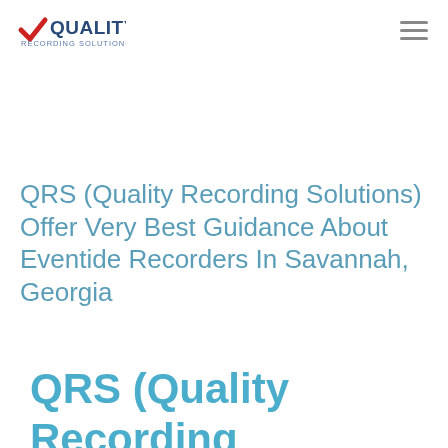Quality Recording Solutions
QRS (Quality Recording Solutions) Offer Very Best Guidance About Eventide Recorders In Savannah, Georgia
QRS (Quality Recording